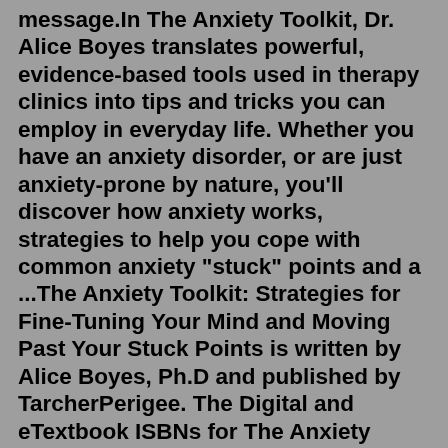message.In The Anxiety Toolkit, Dr. Alice Boyes translates powerful, evidence-based tools used in therapy clinics into tips and tricks you can employ in everyday life. Whether you have an anxiety disorder, or are just anxiety-prone by nature, you'll discover how anxiety works, strategies to help you cope with common anxiety "stuck" points and a ...The Anxiety Toolkit: Strategies for Fine-Tuning Your Mind and Moving Past Your Stuck Points is written by Alice Boyes, Ph.D and published by TarcherPerigee. The Digital and eTextbook ISBNs for The Anxiety Toolkit are 9780698154759, 0698154754 and the print ISBNs are 9780399169250, 0399169253. Save up to 80% versus print by going digital with VitalSource. Find many great new & used options and get the best deals for The Anxiety Toolkit: Strategies for Fi..., Boyes, Alice at the best online prices at eBay! In The Anxiety Toolkit, Dr. Alice Boyes translates powerful, evidence-based tools used in therapy clinics into tips and tricks you can employ in everyday life. Whether you have an